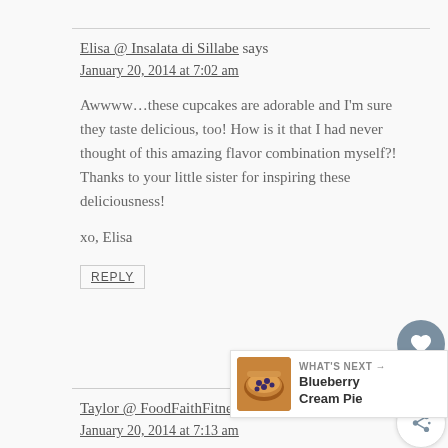Elisa @ Insalata di Sillabe says
January 20, 2014 at 7:02 am
Awwww…these cupcakes are adorable and I'm sure they taste delicious, too! How is it that I had never thought of this amazing flavor combination myself?! Thanks to your little sister for inspiring these deliciousness!
xo, Elisa
REPLY
[Figure (infographic): Heart/like button with count 1 and share button floating on right side]
[Figure (infographic): What's Next widget showing a pie image and text: Blueberry Cream Pie]
Taylor @ FoodFaithFitness says
January 20, 2014 at 7:13 am